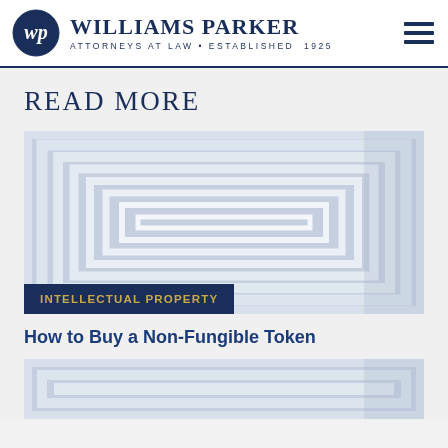Williams Parker Attorneys at Law • Established 1925
READ MORE
[Figure (photo): Abstract geometric pattern of nested rectangles in light blue/grey tones, with an 'INTELLECTUAL PROPERTY' category badge overlaid in dark navy with gold text]
How to Buy a Non-Fungible Token
[Figure (photo): Partial view of another abstract geometric nested rectangles image in light blue/grey tones, cropped at bottom of page]